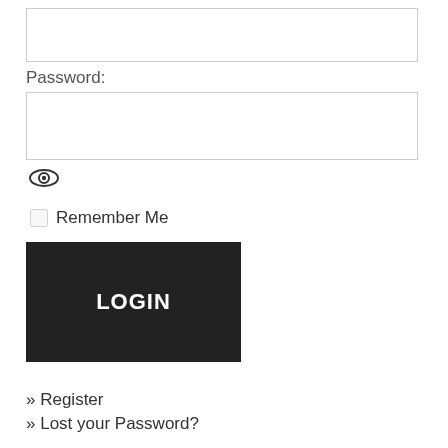[Figure (screenshot): Empty text input field for username/email at top of login form]
Password:
[Figure (screenshot): Empty text input field for password]
[Figure (screenshot): Eye icon for toggling password visibility]
Remember Me
LOGIN
» Register
» Lost your Password?
Subscribe now. You can cancel at anytime.